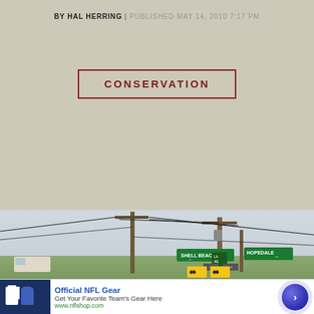BY HAL HERRING | PUBLISHED MAY 14, 2010 7:17 PM
CONSERVATION
[Figure (photo): Road intersection with utility poles and power lines. Green directional signs for Shell Beach (left arrow) and Hopedale (right arrow), plus Louisiana Route 46 marker. Yellow and black chevron warning signs at base. Flat marsh/grassland in background under overcast sky. RV visible at far left.]
[Figure (other): Advertisement: Official NFL Gear - Get Your Favorite Team's Gear Here - www.nflshop.com. Shows NFL jerseys on left, blue circular button with arrow on right.]